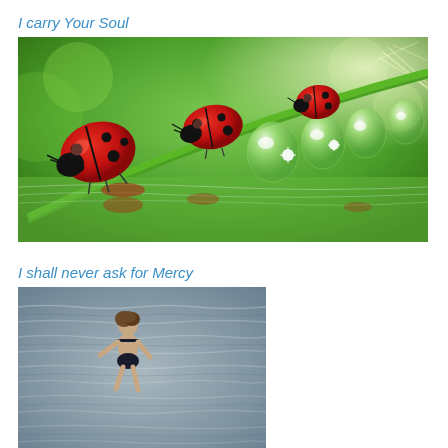I carry Your Soul
[Figure (photo): Three ladybugs on a green grass blade with large water droplets hanging below, reflecting in green water below]
I shall never ask for Mercy
[Figure (photo): Person jumping/diving into grey rippling water, viewed from above/behind]